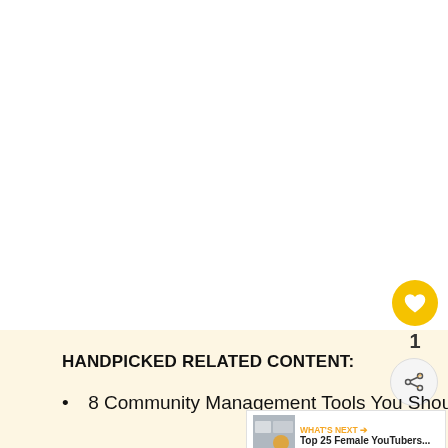HANDPICKED RELATED CONTENT:
8 Community Management Tools You Should Be Using in 2022